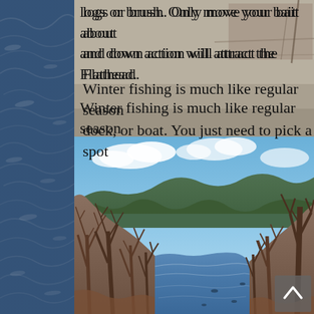logs or brush. Only move your bait about and down action will attract the Flathead.
Winter fishing is much like regular season dock, or boat. You just need to pick a spot
[Figure (photo): A calm lake or river scene in late autumn or winter with leafless bare trees lining both banks reflecting in still water, blue sky with clouds, forested hills in background]